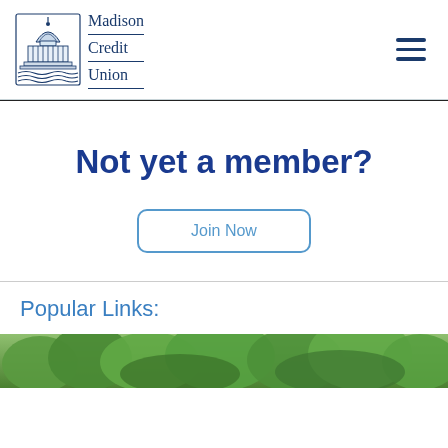[Figure (logo): Madison Credit Union logo with capitol building illustration and text]
Not yet a member?
Join Now
Popular Links:
[Figure (photo): Photo of green trees/foliage at bottom of page]